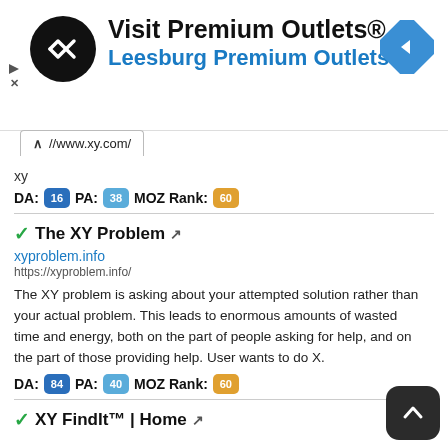[Figure (screenshot): Advertisement banner for Visit Premium Outlets / Leesburg Premium Outlets with circular logo and navigation icon]
//www.xy.com/
xy
DA: 16  PA: 38  MOZ Rank: 60
The XY Problem
xyproblem.info
https://xyproblem.info/
The XY problem is asking about your attempted solution rather than your actual problem. This leads to enormous amounts of wasted time and energy, both on the part of people asking for help, and on the part of those providing help. User wants to do X.
DA: 84  PA: 40  MOZ Rank: 60
XY FindIt™ | Home